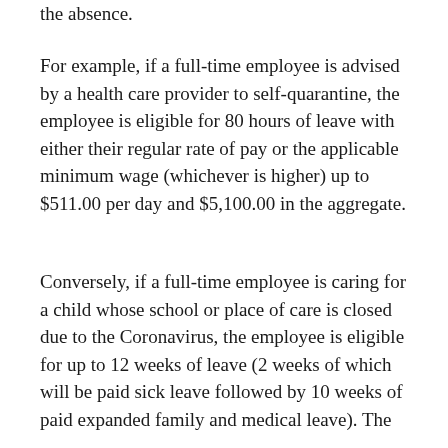the absence.
For example, if a full-time employee is advised by a health care provider to self-quarantine, the employee is eligible for 80 hours of leave with either their regular rate of pay or the applicable minimum wage (whichever is higher) up to $511.00 per day and $5,100.00 in the aggregate.
Conversely, if a full-time employee is caring for a child whose school or place of care is closed due to the Coronavirus, the employee is eligible for up to 12 weeks of leave (2 weeks of which will be paid sick leave followed by 10 weeks of paid expanded family and medical leave). The